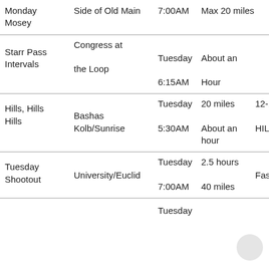| Name | Location | Day/Time | Duration | Notes |
| --- | --- | --- | --- | --- |
| Monday Mosey | Side of Old Main | 7:00AM | Max 20 miles |  |
| Starr Pass Intervals | Congress at the Loop | Tuesday 6:15AM | About an Hour |  |
| Hills, Hills Hills | Bashas Kolb/Sunrise | Tuesday 5:30AM | 20 miles About an hour | 12-14 HILLS |
| Tuesday Shootout | University/Euclid | Tuesday 7:00AM | 2.5 hours 40 miles | Fast |
|  |  | Tuesday |  |  |